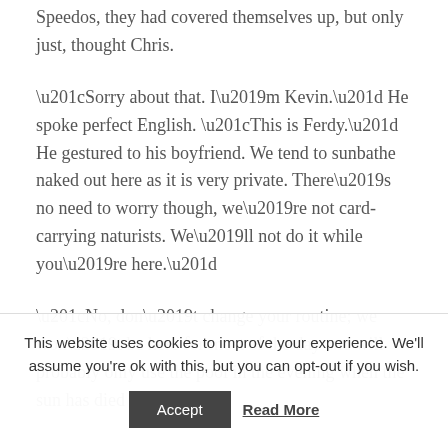Speedos, they had covered themselves up, but only just, thought Chris.
“Sorry about that. I’m Kevin.” He spoke perfect English. “This is Ferdy.” He gestured to his boyfriend. We tend to sunbathe naked out here as it is very private. There’s no need to worry though, we’re not card-carrying naturists. We’ll not do it while you’re here.”
“No, don’t change your routine; we won’t be here for most of the day and will probably only use the pool in the evening when the sun has died down.”
This website uses cookies to improve your experience. We’ll assume you're ok with this, but you can opt-out if you wish.